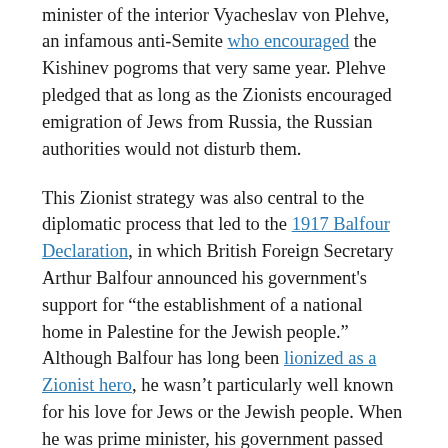as far back as the 19th century, when Zionist leader Theodor Herzl met with the Russian minister of the interior Vyacheslav von Plehve, an infamous anti-Semite who encouraged the Kishinev pogroms that very same year. Plehve pledged that as long as the Zionists encouraged emigration of Jews from Russia, the Russian authorities would not disturb them.
This Zionist strategy was also central to the diplomatic process that led to the 1917 Balfour Declaration, in which British Foreign Secretary Arthur Balfour announced his government's support for "the establishment of a national home in Palestine for the Jewish people." Although Balfour has long been lionized as a Zionist hero, he wasn't particularly well known for his love for Jews or the Jewish people. When he was prime minister, his government passed the 1905 Aliens Act, severely restricting immigration at a time in which persecuted Jews were emigrating from Eastern Europe. At the time, Balfour spoke of the "undoubted evils which had fallen on the country from an alien immigration which was largely